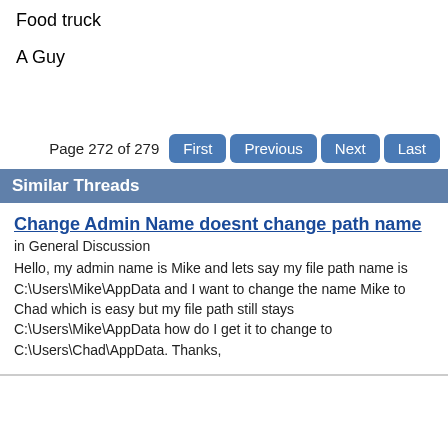Food truck
A Guy
Page 272 of 279  First  Previous  Next  Last
Similar Threads
Change Admin Name doesnt change path name
in General Discussion
Hello, my admin name is Mike and lets say my file path name is C:\Users\Mike\AppData and I want to change the name Mike to Chad which is easy but my file path still stays C:\Users\Mike\AppData how do I get it to change to C:\Users\Chad\AppData. Thanks,